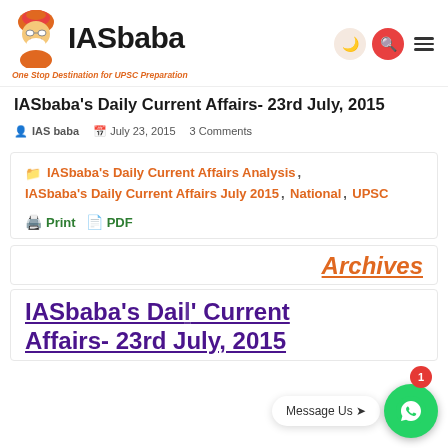[Figure (logo): IASbaba logo with mascot (cartoon guru figure) and tagline 'One Stop Destination for UPSC Preparation']
IASbaba's Daily Current Affairs- 23rd July, 2015
IAS baba  July 23, 2015  3 Comments
IASbaba's Daily Current Affairs Analysis, IASbaba's Daily Current Affairs July 2015, National, UPSC
Print  PDF
Archives
IASbaba's Daily Current Affairs- 23rd July, 2015